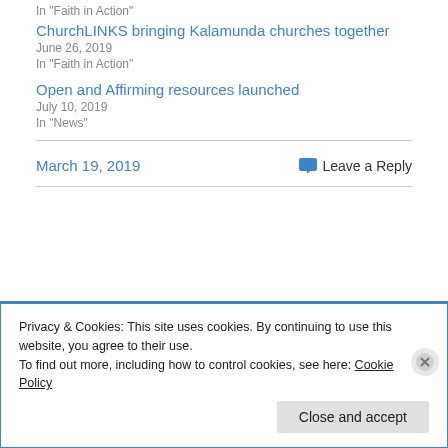In "Faith in Action"
ChurchLINKS bringing Kalamunda churches together
June 26, 2019
In "Faith in Action"
Open and Affirming resources launched
July 10, 2019
In "News"
March 19, 2019
Leave a Reply
Privacy & Cookies: This site uses cookies. By continuing to use this website, you agree to their use.
To find out more, including how to control cookies, see here: Cookie Policy
Close and accept